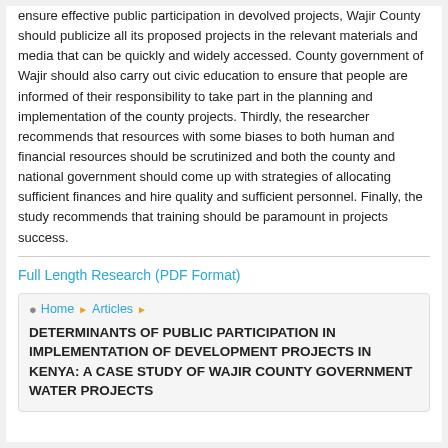ensure effective public participation in devolved projects, Wajir County should publicize all its proposed projects in the relevant materials and media that can be quickly and widely accessed. County government of Wajir should also carry out civic education to ensure that people are informed of their responsibility to take part in the planning and implementation of the county projects. Thirdly, the researcher recommends that resources with some biases to both human and financial resources should be scrutinized and both the county and national government should come up with strategies of allocating sufficient finances and hire quality and sufficient personnel. Finally, the study recommends that training should be paramount in projects success.
Full Length Research (PDF Format)
Home > Articles > DETERMINANTS OF PUBLIC PARTICIPATION IN IMPLEMENTATION OF DEVELOPMENT PROJECTS IN KENYA: A CASE STUDY OF WAJIR COUNTY GOVERNMENT WATER PROJECTS